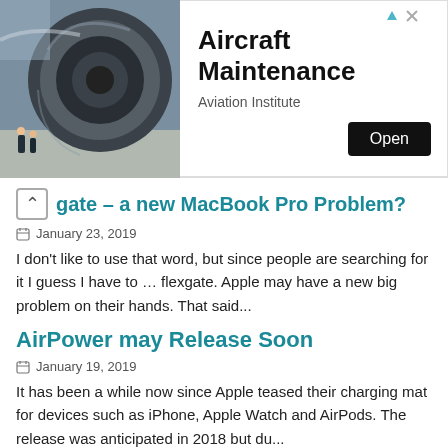[Figure (photo): Advertisement banner: Aircraft maintenance photo on left (airplane jet engine with workers), text on right reads 'Aircraft Maintenance', 'Aviation Institute', with an 'Open' button]
gate – a new MacBook Pro Problem?
January 23, 2019
I don't like to use that word, but since people are searching for it I guess I have to … flexgate. Apple may have a new big problem on their hands. That said...
AirPower may Release Soon
January 19, 2019
It has been a while now since Apple teased their charging mat for devices such as iPhone, Apple Watch and AirPods. The release was anticipated in 2018 but du...
BACK TO TOP ↑
2018
IINA a modern media player for macOS,